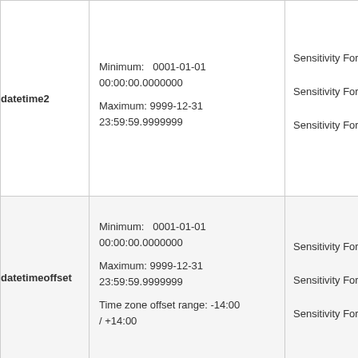| Type | Range / Details | Sensitivity |
| --- | --- | --- |
| datetime2 | Minimum: 0001-01-01 00:00:00.0000000
Maximum: 9999-12-31 23:59:59.9999999 | Sensitivity For 1-2
Sensitivity For 3-4
Sensitivity For 5-7 |
| datetimeoffset | Minimum: 0001-01-01 00:00:00.0000000
Maximum: 9999-12-31 23:59:59.9999999
Time zone offset range: -14:00 / +14:00 | Sensitivity For 1-2
Sensitivity For 3-4
Sensitivity For 5-7 |